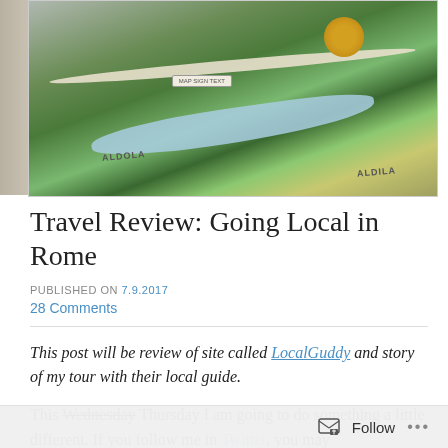[Figure (photo): A colorful painted map mural on a wall in Rome, showing streets, a river (depicted in light blue), green areas, trees, and text labels including 'ALDOLA'. A yellow circular element (possibly a sun or tree) is visible in the upper right. The mural is painted on an exterior wall.]
Travel Review: Going Local in Rome
PUBLISHED ON 7.9.2017
28 Comments
This post will be review of site called LocalGuddy and story of my tour with their local guide.
This Wednesday Thursday I am going to do something a little different. If you follow me in Twitter, you may